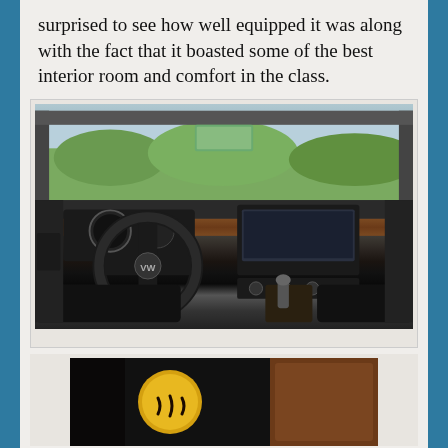surprised to see how well equipped it was along with the fact that it boasted some of the best interior room and comfort in the class.
[Figure (photo): Interior view of a Volkswagen car showing the dashboard, steering wheel with VW logo, center console with infotainment screen, gear shift, and front seats. Trees visible through the windshield.]
[Figure (photo): Partial view of what appears to be a heated seat button or control with a yellow/orange heat symbol icon, and brown leather seat visible in background.]